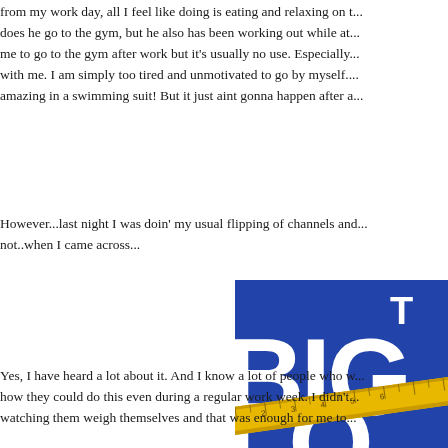from my work day, all I feel like doing is eating and relaxing on t... does he go to the gym, but he also has been working out while at... me to go to the gym after work but it's usually no use. Especially... with me. I am simply too tired and unmotivated to go by myself.... amazing in a swimming suit! But it just aint gonna happen after a...
However...last night I was doin' my usual flipping of channels and... not..when I came across...
[Figure (photo): Partial image of 'The Biggest Loser' TV show logo on a blue background, showing large white letters 'BIG' and 'LO' with a yellow measuring tape wrapped around them.]
Yes, I have heard a lot about it. And I know a lot of people who w... how they could do this even during a regular work week. I didn't... watching them weigh themselves and that was enough for me to...